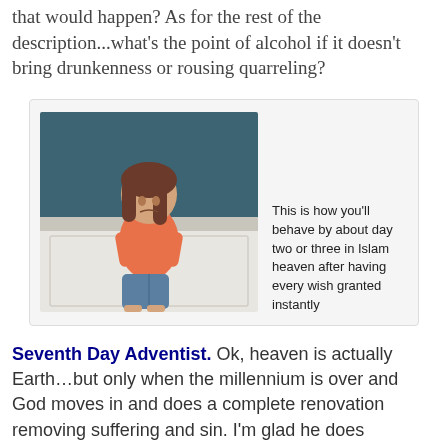that would happen? As for the rest of the description...what's the point of alcohol if it doesn't bring drunkenness or rousing quarreling?
[Figure (photo): A toddler girl in an orange shirt and blue denim shorts standing in a corner facing the wall, pouting. Caption text reads: This is how you'll behave by about day two or three in Islam heaven after having every wish granted instantly]
Seventh Day Adventist. Ok, heaven is actually Earth…but only when the millennium is over and God moves in and does a complete renovation removing suffering and sin. I'm glad he does because that brings the property values down wherever you find suffering and sin.